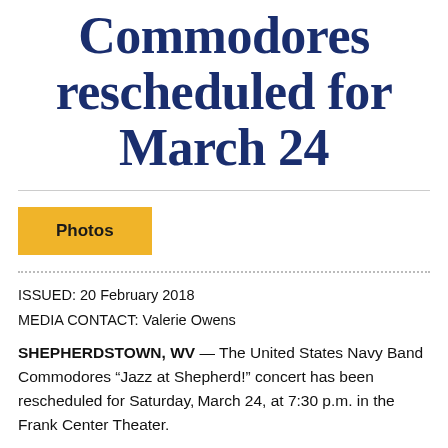Commodores rescheduled for March 24
[Figure (other): Photos button (yellow/gold rectangular button with bold text 'Photos')]
ISSUED: 20 February 2018
MEDIA CONTACT: Valerie Owens
SHEPHERDSTOWN, WV — The United States Navy Band Commodores “Jazz at Shepherd!” concert has been rescheduled for Saturday,March 24, at 7:30 p.m. in the Frank Center Theater.